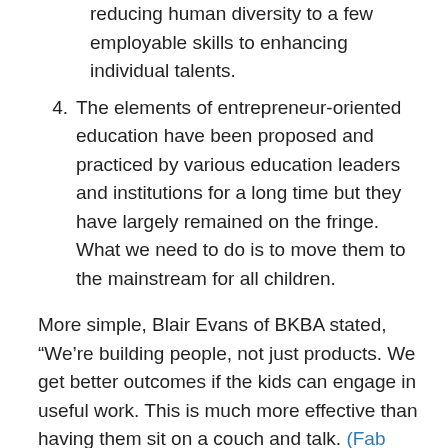reducing human diversity to a few employable skills to enhancing individual talents.
4. The elements of entrepreneur-oriented education have been proposed and practiced by various education leaders and institutions for a long time but they have largely remained on the fringe. What we need to do is to move them to the mainstream for all children.
More simple, Blair Evans of BKBA stated, “We’re building people, not just products. We get better outcomes if the kids can engage in useful work. This is much more effective than having them sit on a couch and talk. (Fab Lab: The DIY Factory That Can Make Anyone a Maker)
Raleigh Werberger, a high school history and humanities teacher in Hawaii, got inspired by Zhao’s book.  He and his